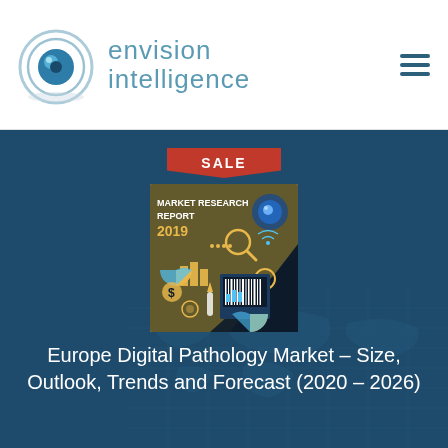[Figure (logo): Envision Intelligence logo with circular eye icon and company name in light blue]
[Figure (illustration): Market Research Report 2019 book cover with digital/technology icons on dark background]
Europe Digital Pathology Market – Size, Outlook, Trends and Forecast (2020 – 2026)